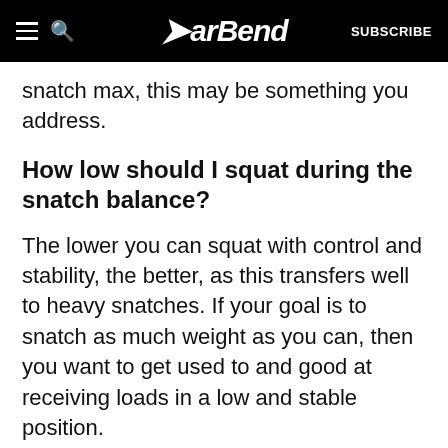BarBend — SUBSCRIBE
snatch max, this may be something you address.
How low should I squat during the snatch balance?
The lower you can squat with control and stability, the better, as this transfers well to heavy snatches. If your goal is to snatch as much weight as you can, then you want to get used to and good at receiving loads in a low and stable position.